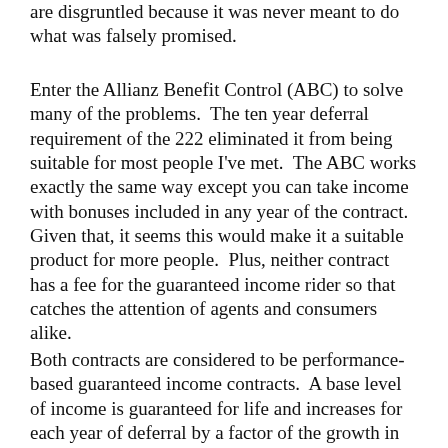are disgruntled because it was never meant to do what was falsely promised.
Enter the Allianz Benefit Control (ABC) to solve many of the problems.  The ten year deferral requirement of the 222 eliminated it from being suitable for most people I've met.  The ABC works exactly the same way except you can take income with bonuses included in any year of the contract.  Given that, it seems this would make it a suitable product for more people.  Plus, neither contract has a fee for the guaranteed income rider so that catches the attention of agents and consumers alike.
Both contracts are considered to be performance-based guaranteed income contracts.  A base level of income is guaranteed for life and increases for each year of deferral by a factor of the growth in the account.  Rate of payout is based on your age when